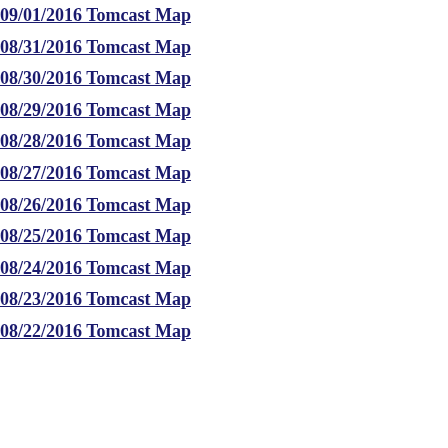09/01/2016 Tomcast Map
08/31/2016 Tomcast Map
08/30/2016 Tomcast Map
08/29/2016 Tomcast Map
08/28/2016 Tomcast Map
08/27/2016 Tomcast Map
08/26/2016 Tomcast Map
08/25/2016 Tomcast Map
08/24/2016 Tomcast Map
08/23/2016 Tomcast Map
08/22/2016 Tomcast Map